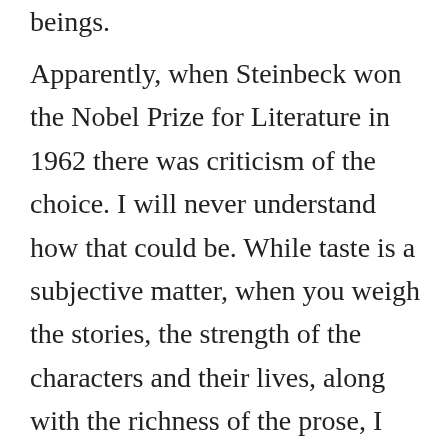beings.
Apparently, when Steinbeck won the Nobel Prize for Literature in 1962 there was criticism of the choice. I will never understand how that could be. While taste is a subjective matter, when you weigh the stories, the strength of the characters and their lives, along with the richness of the prose, I cannot see another writer more deserving of the award. In my school of thought, Steinbeck is the Dean of American